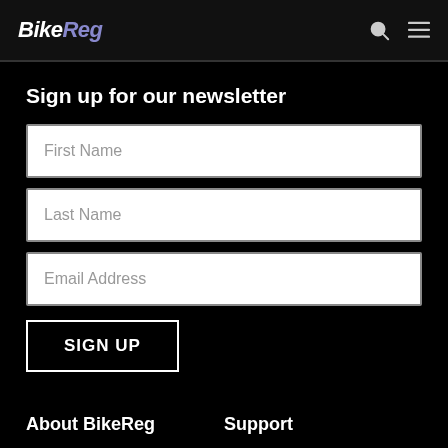BikeReg
Sign up for our newsletter
First Name
Last Name
Email Address
SIGN UP
About BikeReg
About Us
Services
Meet the Team
Support
Knowledge Base
Event Director FAQ
New to BikeReg?